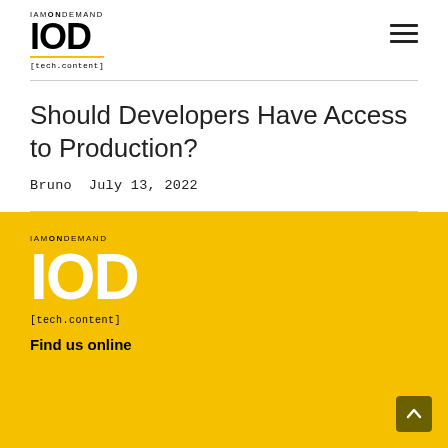IAMONDEMAND IOD [tech.content]
Should Developers Have Access to Production?
Bruno  July 13, 2022
IAMONDEMAND IOD [tech.content] Find us online